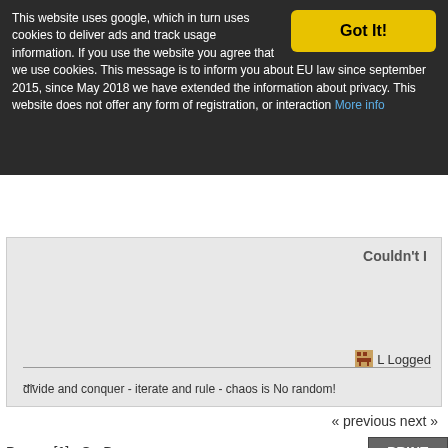This website uses google, which in turn uses cookies to deliver ads and track usage information. If you use the website you agree that we use cookies. This message is to inform you about EU law since september 2015, since May 2018 we have extended the information about privacy. This website does not offer any form of registration, or interaction More info
Couldn't l
L Logged
---
divide and conquer - iterate and rule - chaos is No random!
« previous next »
Pages: [1]   Go Down
PRINT
« previous next »